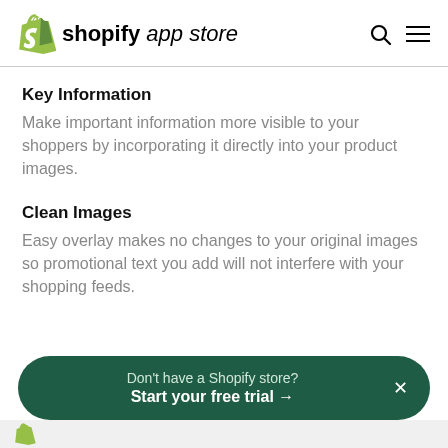shopify app store
Key Information
Make important information more visible to your shoppers by incorporating it directly into your product images.
Clean Images
Easy overlay makes no changes to your original images so promotional text you add will not interfere with your shopping feeds.
Don't have a Shopify store? Start your free trial →